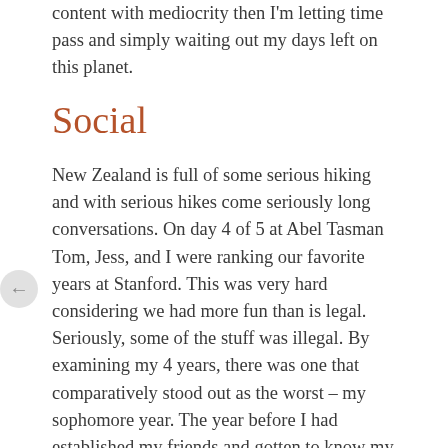content with mediocrity then I'm letting time pass and simply waiting out my days left on this planet.
Social
New Zealand is full of some serious hiking and with serious hikes come seriously long conversations. On day 4 of 5 at Abel Tasman Tom, Jess, and I were ranking our favorite years at Stanford. This was very hard considering we had more fun than is legal. Seriously, some of the stuff was illegal. By examining my 4 years, there was one that comparatively stood out as the worst – my sophomore year. The year before I had established my friends and gotten to know my team and fraternity. And then I comparatively coasted socially through sophomore year, not branching out as much, sticking more to my comfort zone.
I'm not the most outgoing person in the world, but I've